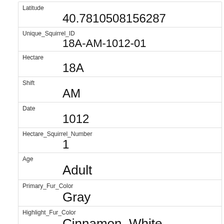| Field | Value |
| --- | --- |
| Latitude | 40.7810508156287 |
| Unique_Squirrel_ID | 18A-AM-1012-01 |
| Hectare | 18A |
| Shift | AM |
| Date | 1012 |
| Hectare_Squirrel_Number | 1 |
| Age | Adult |
| Primary_Fur_Color | Gray |
| Highlight_Fur_Color | Cinnamon, White |
| Combination_of_Primary_and_Highlight_Color | Gray+Cinnamon, White |